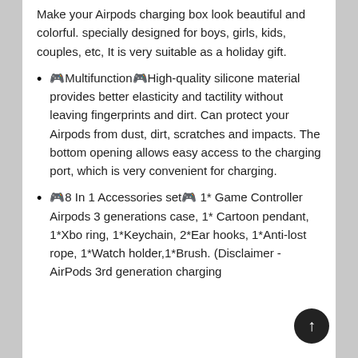Make your Airpods charging box look beautiful and colorful. specially designed for boys, girls, kids, couples, etc, It is very suitable as a holiday gift.
🎮Multifunction🎮High-quality silicone material provides better elasticity and tactility without leaving fingerprints and dirt. Can protect your Airpods from dust, dirt, scratches and impacts. The bottom opening allows easy access to the charging port, which is very convenient for charging.
🎮8 In 1 Accessories set🎮 1* Game Controller Airpods 3 generations case, 1* Cartoon pendant, 1*Xbo ring, 1*Keychain, 2*Ear hooks, 1*Anti-lost rope, 1*Watch holder,1*Brush. (Disclaimer - AirPods 3rd generation charging